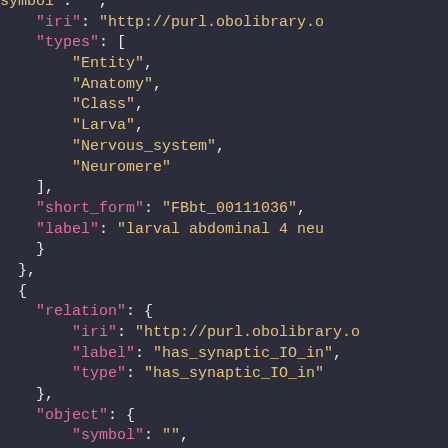[Figure (screenshot): JSON code snippet displayed in a dark-themed code editor showing biological ontology data with keys such as iri, types, short_form, label, relation, and object with values including Entity, Anatomy, Class, Larva, Nervous_system, Neuromere, FBbt_00111036, larval abdominal 4 neu, has_synaptic_IO_in, and symbol.]